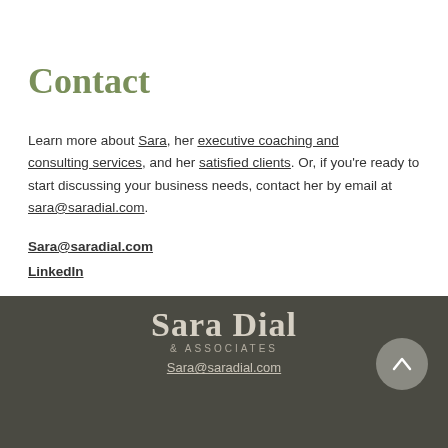Contact
Learn more about Sara, her executive coaching and consulting services, and her satisfied clients. Or, if you're ready to start discussing your business needs, contact her by email at sara@saradial.com.
Sara@saradial.com
LinkedIn
[Figure (logo): Sara Dial & Associates logo with company name in serif font on dark olive/charcoal background, with Sara@saradial.com email below and a scroll-up button]